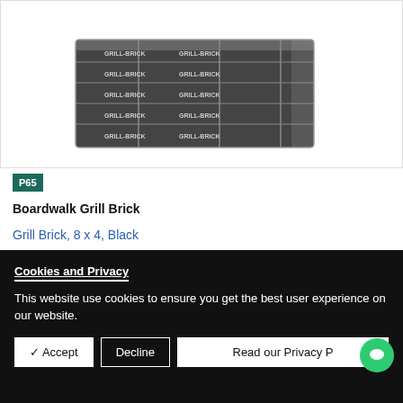[Figure (photo): Stack of Boardwalk Grill Bricks wrapped in black packaging with GRILL-BRICK text printed repeatedly on the packaging.]
P65
Boardwalk Grill Brick
Grill Brick, 8 x 4, Black
Cookies and Privacy
This website use cookies to ensure you get the best user experience on our website.
✓ Accept | Decline | Read our Privacy P